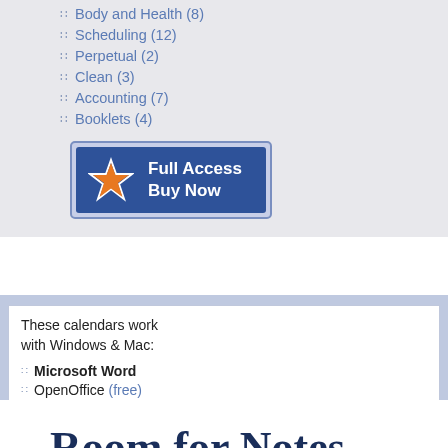Body and Health (8)
Scheduling (12)
Perpetual (2)
Clean (3)
Accounting (7)
Booklets (4)
[Figure (other): Full Access Buy Now button with star icon, dark blue background]
These calendars work with Windows & Mac:
Microsoft Word
OpenOffice (free)
LibreOffice (free)
Room for Notes
Ample room for those heavy note-takers.